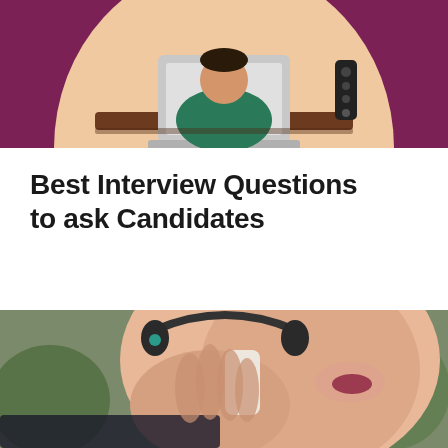[Figure (illustration): Top illustration showing a person in a green outfit sitting at a desk with a laptop and a microphone/speaker device, against a purple/maroon background with peach/skin-tone decorative shape.]
Best Interview Questions to ask Candidates
[Figure (photo): Photo of a smiling woman talking on a phone, wearing a headset, with blurred green plants in the background.]